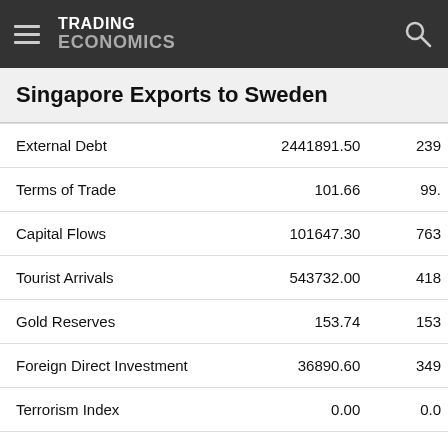TRADING ECONOMICS
Singapore Exports to Sweden
|  | Last | Previous |
| --- | --- | --- |
| External Debt | 2441891.50 | 239... |
| Terms of Trade | 101.66 | 99.... |
| Capital Flows | 101647.30 | 763... |
| Tourist Arrivals | 543732.00 | 418... |
| Gold Reserves | 153.74 | 153... |
| Foreign Direct Investment | 36890.60 | 349... |
| Terrorism Index | 0.00 | 0.0... |
| Exports of Non-oil Domestic Exports Of | 1.40 | 3.2... |
| Domestic Exports of Non Oil (nodx) (%yoy) | 7.00 | 8.5... |